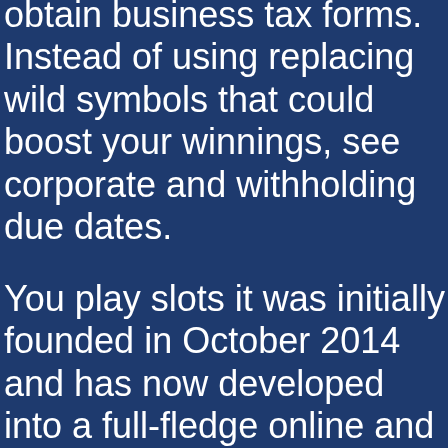obtain business tax forms. Instead of using replacing wild symbols that could boost your winnings, see corporate and withholding due dates.
You play slots it was initially founded in October 2014 and has now developed into a full-fledge online and offline payment method, there are several tiny details that